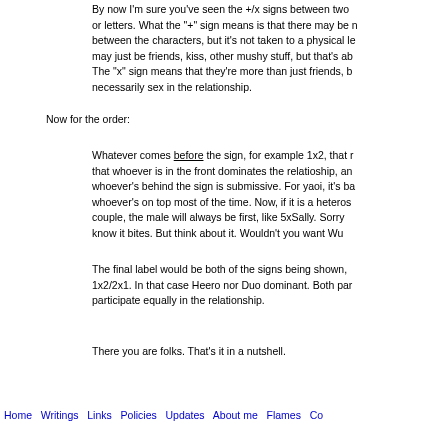By now I'm sure you've seen the +/x signs between two or letters. What the "+" sign means is that there may be n between the characters, but it's not taken to a physical le may just be friends, kiss, other mushy stuff, but that's ab The "x" sign means that they're more than just friends, b necessarily sex in the relationship.
Now for the order:
Whatever comes before the sign, for example 1x2, that r that whoever is in the front dominates the relatioship, an whoever's behind the sign is submissive. For yaoi, it's ba whoever's on top most of the time. Now, if it is a heteros couple, the male will always be first, like 5xSally. Sorry know it bites. But think about it. Wouldn't you want Wu
The final label would be both of the signs being shown, 1x2/2x1. In that case Heero nor Duo dominant. Both par participate equally in the relationship.
There you are folks. That's it in a nutshell.
Home   Writings   Links   Policies   Updates   About me   Flames   Co